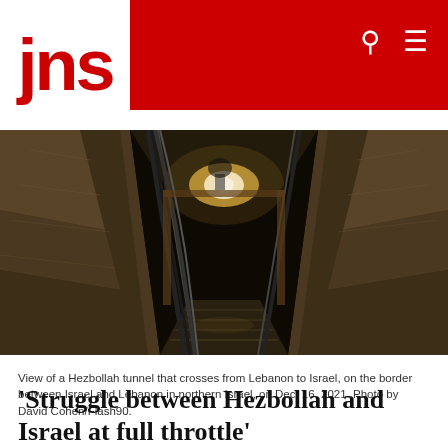jns
[Figure (photo): View of a Hezbollah tunnel interior showing rough stone walls, metal pipes and cables running along the tunnel, with light visible at the far end. The tunnel descends into darkness with wooden supports visible.]
View of a Hezbollah tunnel that crosses from Lebanon to Israel, on the border between Israel and Lebanon in northern Israel, on Dec. 16, 2021. Photo by David Cohen/Flash90.
‘Struggle between Hezbollah and Israel at full throttle’